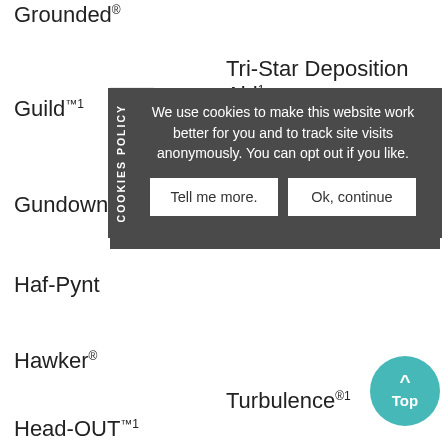Grounded®
Tri-Star Deposition Aid¹
Guild™¹
Gundown
Haf-Pynt
Hawker®
Turbulence®¹
Head-OUT™¹
Twister HL™¹
Headhunter™ Elite¹
U-Surp¹
Hefty MSO¹
Ultifarm Advan
Herbimax®¹
Ultifarm Elite¹
COOKIES POLICY We use cookies to make this website work better for you and to track site visits anonymously. You can opt out if you like. Tell me more. Ok, continue